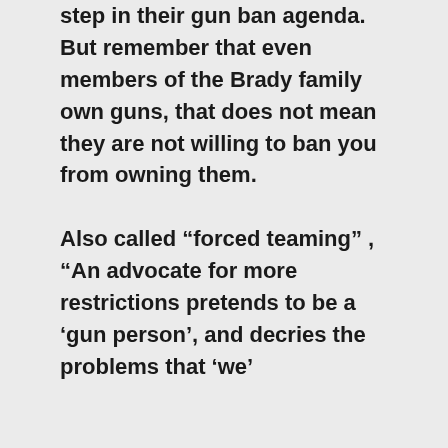step in their gun ban agenda. But remember that even members of the Brady family own guns, that does not mean they are not willing to ban you from owning them.

Also called “forced teaming” , “An advocate for more restrictions pretends to be a ‘gun person’, and decries the problems that ‘we’